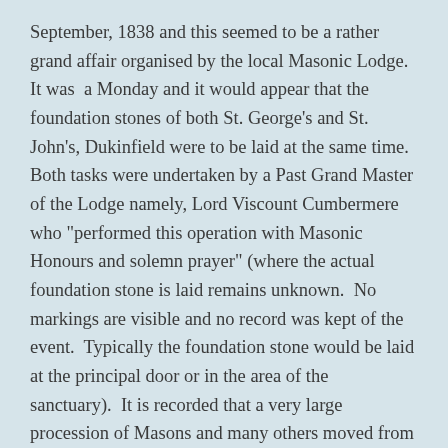September, 1838 and this seemed to be a rather grand affair organised by the local Masonic Lodge.  It was  a Monday and it would appear that the foundation stones of both St. George's and St. John's, Dukinfield were to be laid at the same time.  Both tasks were undertaken by a Past Grand Master of the Lodge namely, Lord Viscount Cumbermere who "performed this operation with Masonic Honours and solemn prayer" (where the actual foundation stone is laid remains unknown.  No markings are visible and no record was kept of the event.  Typically the foundation stone would be laid at the principal door or in the area of the sanctuary).  It is recorded that a very large procession of Masons and many others moved from one church to the other.  The event proved to be such a large undertaking that the whole of the evening was taken up with a public dinner in the Town Hall and it is understood that approximately 175 persons sat down to eat the meal.  Records show that the Grand Master of the Lodge, Captain Hollingworth was in the chair and that he was supported "on his right by Lord Viscount Cumbermere, the Revd C.K.Prescott, Rector of Stockport and David Harrison Esq;